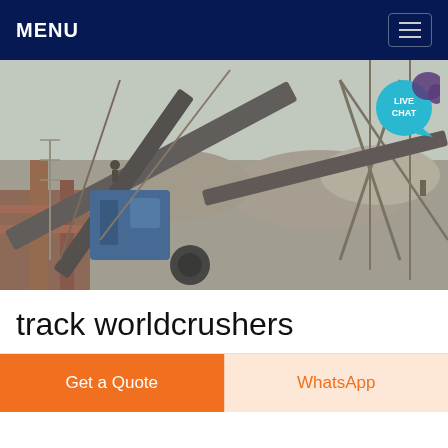MENU
[Figure (photo): Industrial stone crushing and conveyor belt facility with multiple cross-angled conveyor belts, structural steel framework, aggregate piles, and heavy machinery at a quarry or mining site.]
track worldcrushers
Get a Quote
WhatsApp